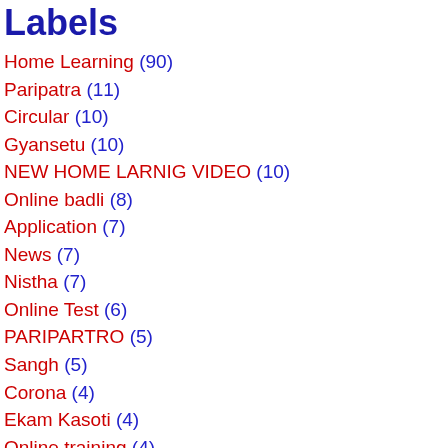Labels
Home Learning (90)
Paripatra (11)
Circular (10)
Gyansetu (10)
NEW HOME LARNIG VIDEO (10)
Online badli (8)
Application (7)
News (7)
Nistha (7)
Online Test (6)
PARIPARTRO (5)
Sangh (5)
Corona (4)
Ekam Kasoti (4)
Online training (4)
Yojna (4)
26 January (3)
ABCD (3)